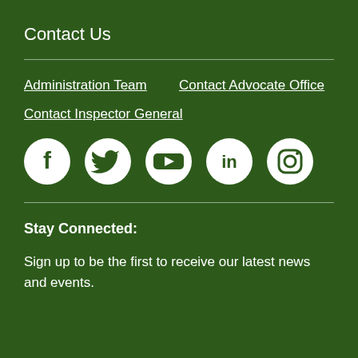Contact Us
Administration Team
Contact Advocate Office
Contact Inspector General
[Figure (infographic): Social media icons row: Facebook, Twitter, YouTube, LinkedIn, Instagram — white icons on dark green circular backgrounds]
Stay Connected:
Sign up to be the first to receive our latest news and events.